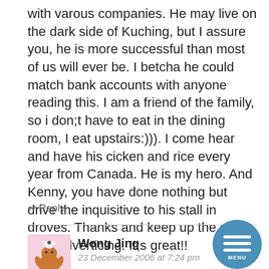with varous companies. He may live on the dark side of Kuching, but I assure you, he is more successful than most of us will ever be. I betcha he could match bank accounts with anyone reading this. I am a friend of the family, so i don;t have to eat in the dining room, I eat upstairs:))). I come hear and have his cicken and rice every year from Canada. He is my hero. And Kenny, you have done nothing but drive the inquisitive to his stall in droves. Thanks and keep up the good ,free adverticing. It;s great!!
↩ Reply
Wong Jing
23 December 2006 at 7:24 pm
someone says you look like HK-Film-director WONG JING in the suit, haha
[Figure (illustration): Cartoon avatar of a character with a round body, wearing green pants and a brown top, with a small sheep on its head]
[Figure (illustration): Blue circular menu button with three white horizontal lines and the word MENU below them]